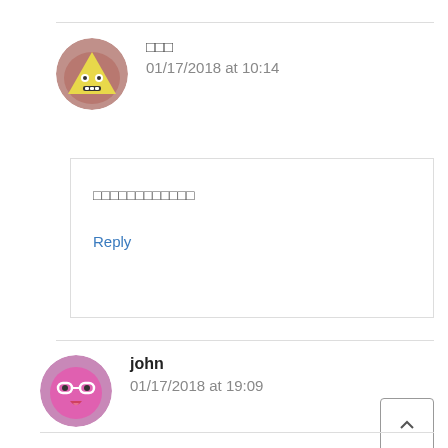□□□
01/17/2018 at 10:14
□□□□□□□□□□□□
Reply
john
01/17/2018 at 19:09